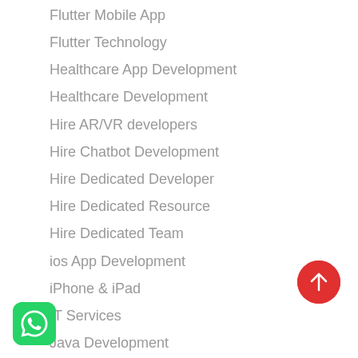Flutter Mobile App
Flutter Technology
Healthcare App Development
Healthcare Development
Hire AR/VR developers
Hire Chatbot Development
Hire Dedicated Developer
Hire Dedicated Resource
Hire Dedicated Team
ios App Development
iPhone & iPad
IT Services
Java Development